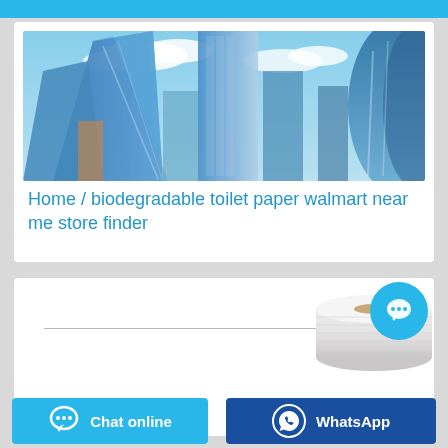[Figure (photo): Looking up view of glass skyscrapers against a blue sky with clouds]
Home / biodegradable toilet paper walmart near me store finder
[Figure (photo): Toilet paper roll illustration]
[Figure (other): Chat online button with speech bubble icon]
[Figure (other): WhatsApp button with WhatsApp icon]